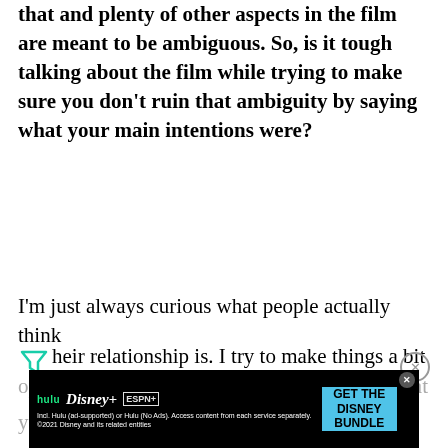that and plenty of other aspects in the film are meant to be ambiguous. So, is it tough talking about the film while trying to make sure you don't ruin that ambiguity by saying what your main intentions were?
I'm just always curious what people actually think their relationship is. I try to make things a bit open...
[Figure (other): Advertisement banner for Disney Bundle (Hulu, Disney+, ESPN+) with teal CTA button 'GET THE DISNEY BUNDLE'. Includes logos for Hulu, Disney+, and ESPN+. Fine print: Incl. Hulu (ad-supported) or Hulu (No Ads). Access content from each service separately. ©2021 Disney and its related entities.]